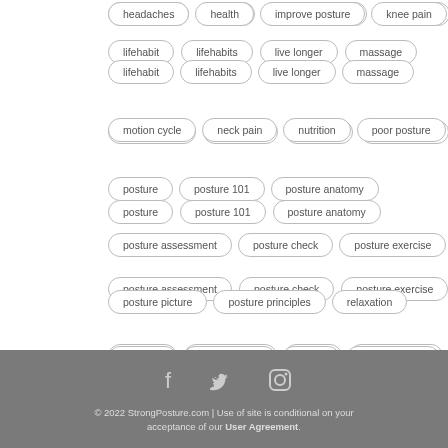headaches
health
improve posture
knee pain
lifehabit
lifehabits
live longer
massage
motion cycle
neck pain
nutrition
poor posture
posture
posture 101
posture anatomy
posture assessment
posture check
posture exercise
posture picture
posture principles
relaxation
self help
shoulder pain
sitting
strongposture
walking
workplace wellness
© 2022 StrongPosture.com | Use of site is conditional on your acceptance of our User Agreement.